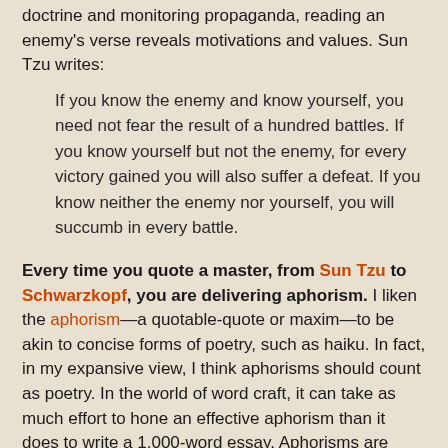doctrine and monitoring propaganda, reading an enemy's verse reveals motivations and values. Sun Tzu writes:
If you know the enemy and know yourself, you need not fear the result of a hundred battles. If you know yourself but not the enemy, for every victory gained you will also suffer a defeat. If you know neither the enemy nor yourself, you will succumb in every battle.
Every time you quote a master, from Sun Tzu to Schwarzkopf, you are delivering aphorism. I liken the aphorism—a quotable-quote or maxim—to be akin to concise forms of poetry, such as haiku. In fact, in my expansive view, I think aphorisms should count as poetry. In the world of word craft, it can take as much effort to hone an effective aphorism than it does to write a 1,000-word essay. Aphorisms are laser-guided missiles, rather than carpet bombs. We should all spend our words more wisely.
Reading a few lines connects us to the thin red line of soldiers past, present, and future. Poetry puts us in the boots of those who have served before, hooks our chutes to